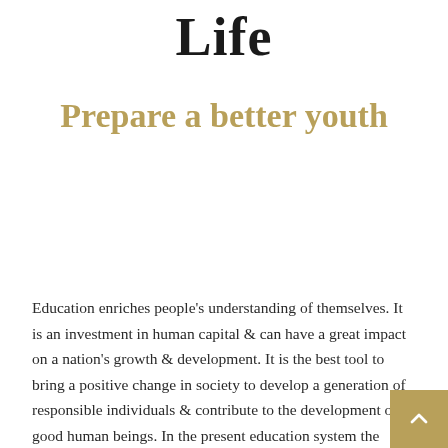Life
Prepare a better youth
Education enriches people's understanding of themselves. It is an investment in human capital & can have a great impact on a nation's growth & development. It is the best tool to bring a positive change in society to develop a generation of responsible individuals & contribute to the development of good human beings. In the present education system the emphasis has only been